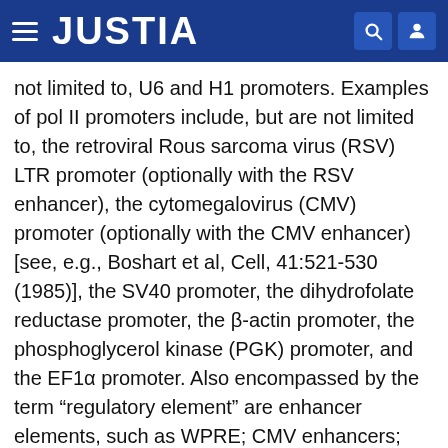JUSTIA
not limited to, U6 and H1 promoters. Examples of pol II promoters include, but are not limited to, the retroviral Rous sarcoma virus (RSV) LTR promoter (optionally with the RSV enhancer), the cytomegalovirus (CMV) promoter (optionally with the CMV enhancer) [see, e.g., Boshart et al, Cell, 41:521-530 (1985)], the SV40 promoter, the dihydrofolate reductase promoter, the β-actin promoter, the phosphoglycerol kinase (PGK) promoter, and the EF1α promoter. Also encompassed by the term “regulatory element” are enhancer elements, such as WPRE; CMV enhancers; the R-U5’ segment in LTR of HTLV-I (Mol. Cell. Biol., Vol. 8(1), p. 466-472, 1988); SV40 enhancer; and the intron sequence between exons 2 and 3 of rabbit β-globin (Proc. Natl. Acad. Sci. USA., Vol. 78(3), p. 1527-31, 1981). It will be appreciated by those skilled in the art that the design of the expression vector can depend on such factors as the choice of the host cell